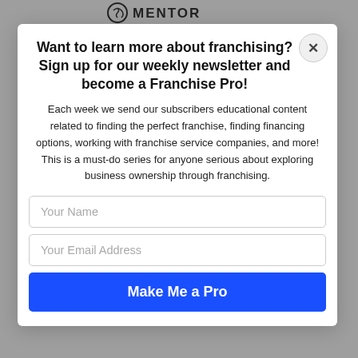[Figure (logo): Franchise Mentor logo with circular spiral icon and MENTOR text at top of page]
Want to learn more about franchising? Sign up for our weekly newsletter and become a Franchise Pro!
Each week we send our subscribers educational content related to finding the perfect franchise, finding financing options, working with franchise service companies, and more! This is a must-do series for anyone serious about exploring business ownership through franchising.
Your Name
Your Email Address
Make Me a Pro